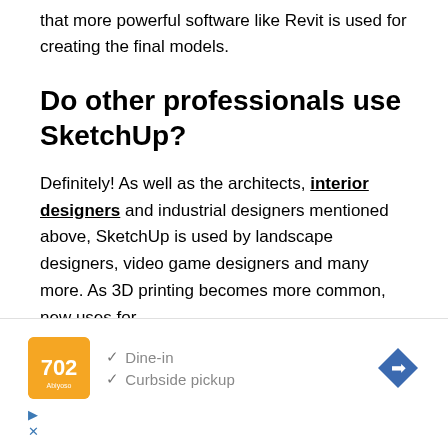that more powerful software like Revit is used for creating the final models.
Do other professionals use SketchUp?
Definitely! As well as the architects, interior designers and industrial designers mentioned above, SketchUp is used by landscape designers, video game designers and many more. As 3D printing becomes more common, new uses for
[Figure (other): Advertisement banner showing a restaurant logo with orange background, checkmarks for Dine-in and Curbside pickup options, and a blue navigation arrow icon. Below are play and close ad control icons.]